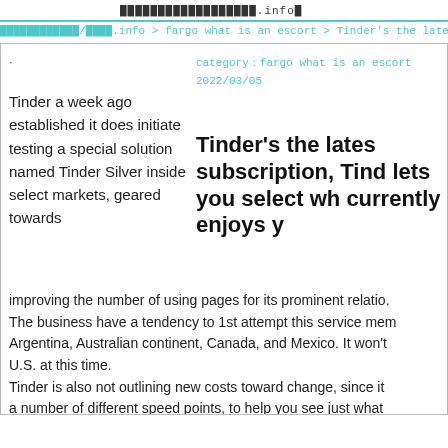██████████████████.info█
████████████/████.info > fargo what is an escort > Tinder's the latest su
category：fargo what is an escort
2022/03/05
·
Tinder a week ago established it does initiate testing a special solution named Tinder Silver inside select markets, geared towards
Tinder's the lates subscription, Tinder lets you select wh currently enjoys y
improving the number of using pages for its prominent relatio. The business have a tendency to 1st attempt this service mem Argentina, Australian continent, Canada, and Mexico. It won't U.S. at this time.
Tinder is also not outlining new costs toward change, since it a number of different speed points, to help you see just what